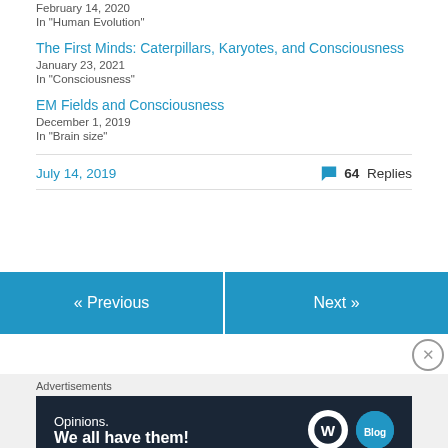February 14, 2020
In "Human Evolution"
The First Minds: Caterpillars, Karyotes, and Consciousness
January 23, 2021
In "Consciousness"
EM Fields and Consciousness
December 1, 2019
In "Brain size"
July 14, 2019
64 Replies
« Previous
Next »
Advertisements
[Figure (screenshot): WordPress advertisement banner: 'Opinions. We all have them!' with WordPress and blog logos on dark navy background]
REPORT THIS AD